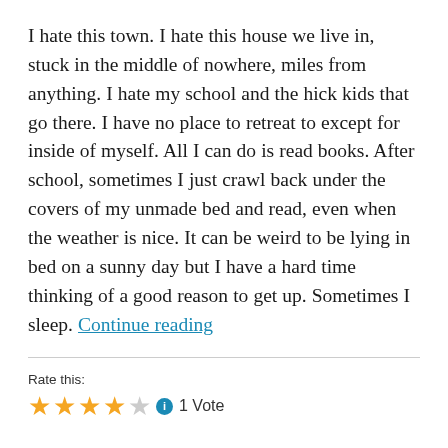I hate this town. I hate this house we live in, stuck in the middle of nowhere, miles from anything. I hate my school and the hick kids that go there. I have no place to retreat to except for inside of myself. All I can do is read books. After school, sometimes I just crawl back under the covers of my unmade bed and read, even when the weather is nice. It can be weird to be lying in bed on a sunny day but I have a hard time thinking of a good reason to get up. Sometimes I sleep. Continue reading
Rate this:
4 stars filled, 1 star empty. 1 Vote